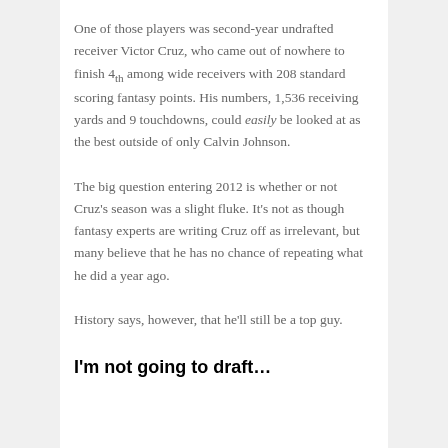One of those players was second-year undrafted receiver Victor Cruz, who came out of nowhere to finish 4th among wide receivers with 208 standard scoring fantasy points. His numbers, 1,536 receiving yards and 9 touchdowns, could easily be looked at as the best outside of only Calvin Johnson.
The big question entering 2012 is whether or not Cruz's season was a slight fluke. It's not as though fantasy experts are writing Cruz off as irrelevant, but many believe that he has no chance of repeating what he did a year ago.
History says, however, that he'll still be a top guy.
I'm not going to draft…